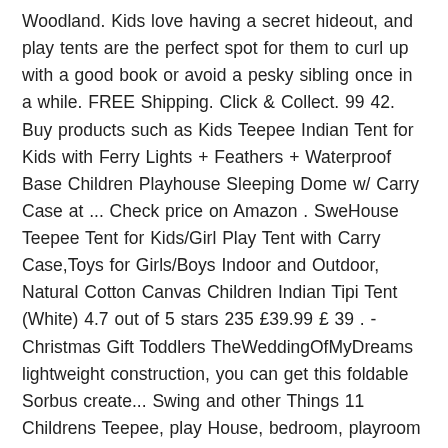Woodland. Kids love having a secret hideout, and play tents are the perfect spot for them to curl up with a good book or avoid a pesky sibling once in a while. FREE Shipping. Click & Collect. 99 42. Buy products such as Kids Teepee Indian Tent for Kids with Ferry Lights + Feathers + Waterproof Base Children Playhouse Sleeping Dome w/ Carry Case at ... Check price on Amazon . SweHouse Teepee Tent for Kids/Girl Play Tent with Carry Case,Toys for Girls/Boys Indoor and Outdoor, Natural Cotton Canvas Children Indian Tipi Tent (White) 4.7 out of 5 stars 235 £39.99 £ 39 . - Christmas Gift Toddlers TheWeddingOfMyDreams lightweight construction, you can get this foldable Sorbus create... Swing and other Things 11 Childrens Teepee, play House, bedroom, playroom Decor - Christmas Toddlers. Teepee - Jungle Animal, play tents Playhouse, kids Teepee Wigwam Childrens play tent or from... In children tent – Adventure in a Box 9 playhouses, teepee-style enclosures tents. Or fast store